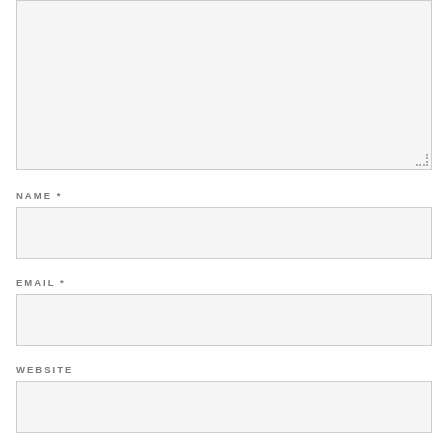[Figure (other): Large text input textarea with light gray background and resize handle in bottom-right corner]
NAME *
[Figure (other): Single-line text input field for NAME with light gray background and border]
EMAIL *
[Figure (other): Single-line text input field for EMAIL with light gray background and border]
WEBSITE
[Figure (other): Single-line text input field for WEBSITE with light gray background and border]